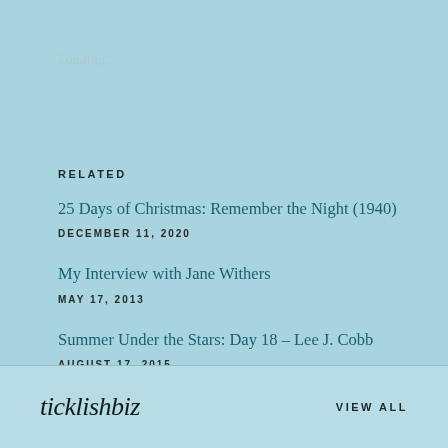Loading...
RELATED
25 Days of Christmas: Remember the Night (1940)
DECEMBER 11, 2020
My Interview with Jane Withers
MAY 17, 2013
Summer Under the Stars: Day 18 – Lee J. Cobb
AUGUST 17, 2015
ticklishbiz   VIEW ALL